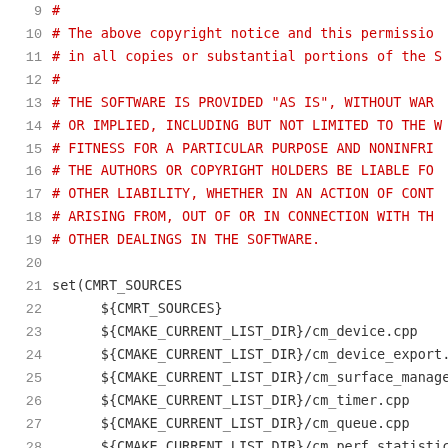Code listing lines 9-29 of a CMake file showing license comment and set(CMRT_SOURCES ...) block
9   #
10  # The above copyright notice and this permission
11  # in all copies or substantial portions of the S
12  #
13  # THE SOFTWARE IS PROVIDED "AS IS", WITHOUT WARR
14  # OR IMPLIED, INCLUDING BUT NOT LIMITED TO THE W
15  # FITNESS FOR A PARTICULAR PURPOSE AND NONINFRI
16  # THE AUTHORS OR COPYRIGHT HOLDERS BE LIABLE FO
17  # OTHER LIABILITY, WHETHER IN AN ACTION OF CONT
18  # ARISING FROM, OUT OF OR IN CONNECTION WITH TH
19  # OTHER DEALINGS IN THE SOFTWARE.
20
21  set(CMRT_SOURCES
22        ${CMRT_SOURCES}
23        ${CMAKE_CURRENT_LIST_DIR}/cm_device.cpp
24        ${CMAKE_CURRENT_LIST_DIR}/cm_device_export.c
25        ${CMAKE_CURRENT_LIST_DIR}/cm_surface_manage
26        ${CMAKE_CURRENT_LIST_DIR}/cm_timer.cpp
27        ${CMAKE_CURRENT_LIST_DIR}/cm_queue.cpp
28        ${CMAKE_CURRENT_LIST_DIR}/cm_perf_statistics
29        ${CMAKE_CURRENT_LIST_DIR}/cm_kernel_debugge
30  )